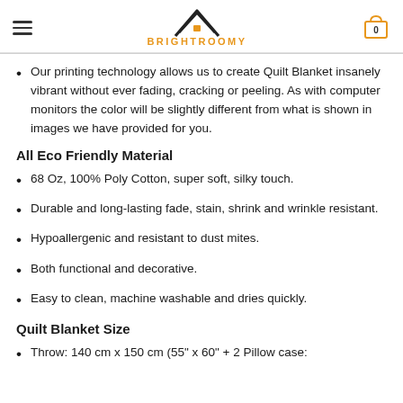BRIGHTROOMY
Our printing technology allows us to create Quilt Blanket insanely vibrant without ever fading, cracking or peeling. As with computer monitors the color will be slightly different from what is shown in images we have provided for you.
All Eco Friendly Material
68 Oz, 100% Poly Cotton, super soft, silky touch.
Durable and long-lasting fade, stain, shrink and wrinkle resistant.
Hypoallergenic and resistant to dust mites.
Both functional and decorative.
Easy to clean, machine washable and dries quickly.
Quilt Blanket Size
Throw: 140 cm x 150 cm (55" x 60" + 2 Pillow case: